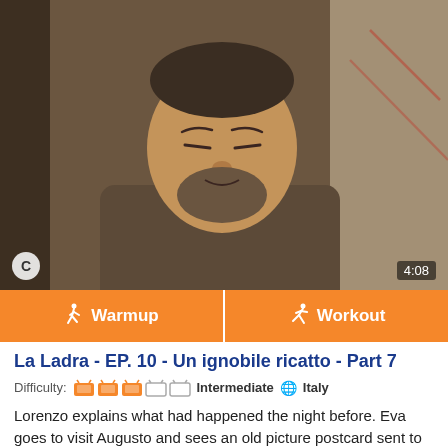[Figure (photo): Video thumbnail showing an older man with eyes closed and a beard, wearing a brown knitted vest, with interior background. Video badge 'C' at bottom left, duration '4:08' at bottom right.]
Warmup
Workout
La Ladra - EP. 10 - Un ignobile ricatto - Part 7
Difficulty: 🟠🟠🟠⬜⬜ Intermediate 🌐 Italy
Lorenzo explains what had happened the night before. Eva goes to visit Augusto and sees an old picture postcard sent to him from her ex-husband. Then she sees Dante with another woman. What a day.